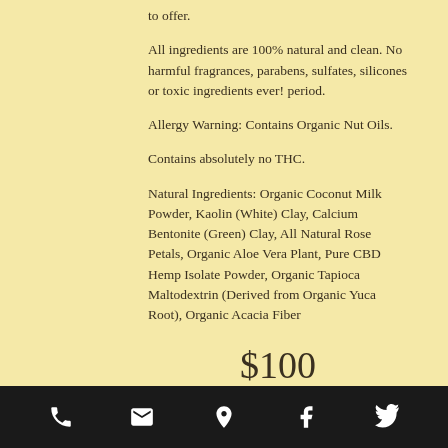to offer.
All ingredients are 100% natural and clean. No harmful fragrances, parabens, sulfates, silicones or toxic ingredients ever! period.
Allergy Warning: Contains Organic Nut Oils.
Contains absolutely no THC.
Natural Ingredients: Organic Coconut Milk Powder, Kaolin (White) Clay, Calcium Bentonite (Green) Clay, All Natural Rose Petals, Organic Aloe Vera Plant, Pure CBD Hemp Isolate Powder, Organic Tapioca Maltodextrin (Derived from Organic Yuca Root), Organic Acacia Fiber
$100
Book Now
(Click "Facials" and choose to experience your facial with or without a droplet)
Phone | Email | Location | Facebook | Twitter icons